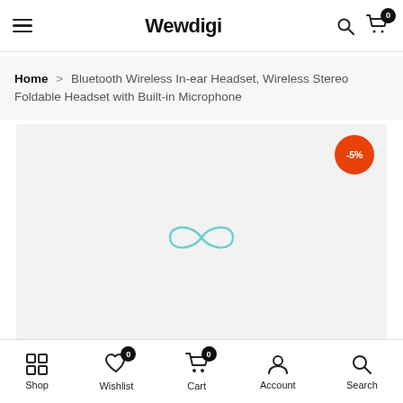Wewdigi
Home > Bluetooth Wireless In-ear Headset, Wireless Stereo Foldable Headset with Built-in Microphone
[Figure (photo): Product image area with light gray background, a loading spinner icon in teal/cyan in the center, and an orange discount badge showing -5% in the top right corner.]
Shop | Wishlist 0 | Cart 0 | Account | Search